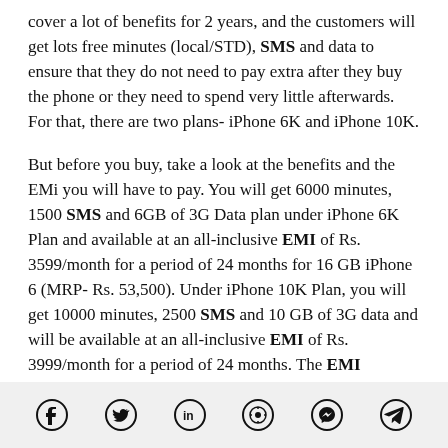cover a lot of benefits for 2 years, and the customers will get lots free minutes (local/STD), SMS and data to ensure that they do not need to pay extra after they buy the phone or they need to spend very little afterwards. For that, there are two plans- iPhone 6K and iPhone 10K.
But before you buy, take a look at the benefits and the EMi you will have to pay. You will get 6000 minutes, 1500 SMS and 6GB of 3G Data plan under iPhone 6K Plan and available at an all-inclusive EMI of Rs. 3599/month for a period of 24 months for 16 GB iPhone 6 (MRP- Rs. 53,500). Under iPhone 10K Plan, you will get 10000 minutes, 2500 SMS and 10 GB of 3G data and will be available at an all-inclusive EMI of Rs. 3999/month for a period of 24 months. The EMI
Social share icons: Facebook, Twitter, LinkedIn, WhatsApp, Messenger, Telegram